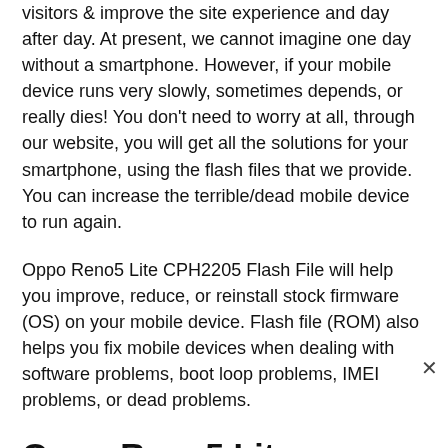visitors & improve the site experience and day after day. At present, we cannot imagine one day without a smartphone. However, if your mobile device runs very slowly, sometimes depends, or really dies! You don't need to worry at all, through our website, you will get all the solutions for your smartphone, using the flash files that we provide. You can increase the terrible/dead mobile device to run again.
Oppo Reno5 Lite CPH2205 Flash File will help you improve, reduce, or reinstall stock firmware (OS) on your mobile device. Flash file (ROM) also helps you fix mobile devices when dealing with software problems, boot loop problems, IMEI problems, or dead problems.
Oppo Reno5 Lite CPH2205 Full